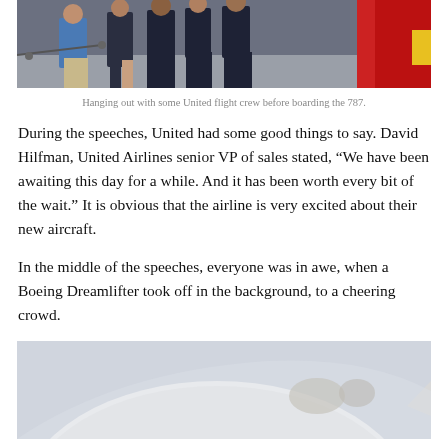[Figure (photo): Group photo of people including United Airlines flight crew members in dark navy uniforms standing in front of a red stairway next to an aircraft, along with a person in a blue jacket and khaki pants.]
Hanging out with some United flight crew before boarding the 787.
During the speeches, United had some good things to say. David Hilfman, United Airlines senior VP of sales stated, “We have been awaiting this day for a while. And it has been worth every bit of the wait.” It is obvious that the airline is very excited about their new aircraft.
In the middle of the speeches, everyone was in awe, when a Boeing Dreamlifter took off in the background, to a cheering crowd.
[Figure (photo): Close-up photo of the nose section of a white aircraft (Boeing Dreamlifter) against a light gray/blue sky background.]